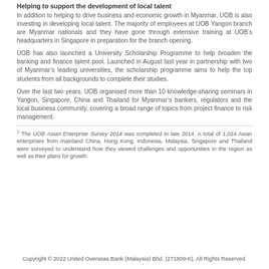Helping to support the development of local talent
In addition to helping to drive business and economic growth in Myanmar, UOB is also investing in developing local talent. The majority of employees at UOB Yangon branch are Myanmar nationals and they have gone through extensive training at UOB’s headquarters in Singapore in preparation for the branch opening.
UOB has also launched a University Scholarship Programme to help broaden the banking and finance talent pool. Launched in August last year in partnership with two of Myanmar’s leading universities, the scholarship programme aims to help the top students from all backgrounds to complete their studies.
Over the last two years, UOB organised more than 10 knowledge-sharing seminars in Yangon, Singapore, China and Thailand for Myanmar’s bankers, regulators and the local business community, covering a broad range of topics from project finance to risk management.
1 The UOB Asian Enterprise Survey 2014 was completed in late 2014. A total of 1,024 Asian enterprises from mainland China, Hong Kong, Indonesia, Malaysia, Singapore and Thailand were surveyed to understand how they viewed challenges and opportunities in the region as well as their plans for growth.
Copyright © 2022 United Overseas Bank (Malaysia) Bhd. (271809-K). All Rights Reserved.